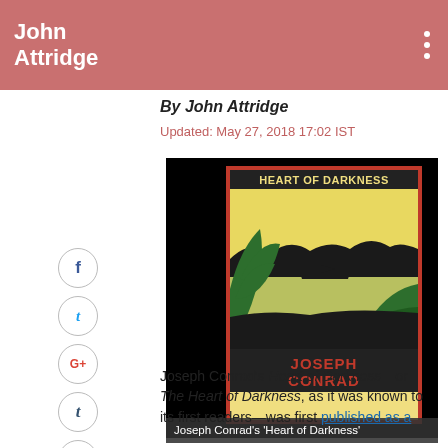John Attridge
By John Attridge
Updated: May 27, 2018 17:02 IST
[Figure (illustration): Book cover of Joseph Conrad's 'Heart of Darkness' — a stylized illustration showing a silhouette jungle scene with a boat on a river, palm frond in foreground, yellow sky. Red border frame. Title 'HEART OF DARKNESS' at top in yellow on dark background, author 'JOSEPH CONRAD' in red at bottom on dark background.]
Joseph Conrad's 'Heart of Darkness'
Joseph Conrad's Heart of Darkness—or The Heart of Darkness, as it was known to its first readers—was first published as a